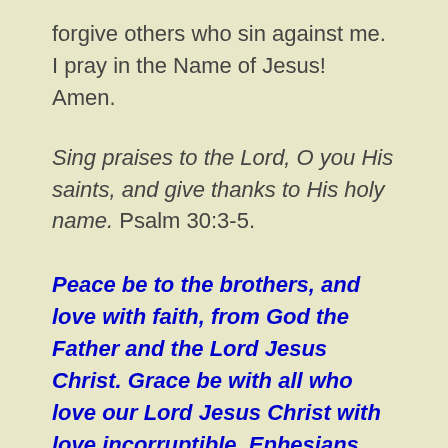forgive others who sin against me. I pray in the Name of Jesus!  Amen.
Sing praises to the Lord, O you His saints, and give thanks to His holy name. Psalm 30:3-5.
Peace be to the brothers, and love with faith, from God the Father and the Lord Jesus Christ. Grace be with all who love our Lord Jesus Christ with love incorruptible. Ephesians 6:23-24.